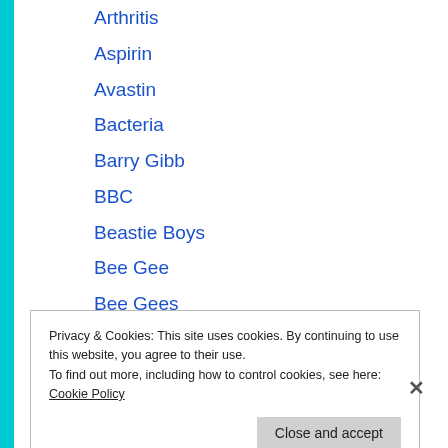Arthritis
Aspirin
Avastin
Bacteria
Barry Gibb
BBC
Beastie Boys
Bee Gee
Bee Gees
Beta blocker
BIND Biosciences
Privacy & Cookies: This site uses cookies. By continuing to use this website, you agree to their use.
To find out more, including how to control cookies, see here: Cookie Policy
Close and accept